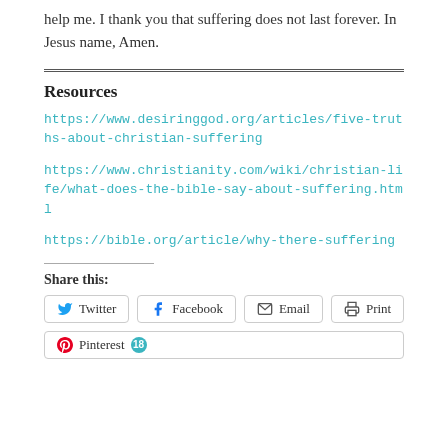help me. I thank you that suffering does not last forever. In Jesus name, Amen.
Resources
https://www.desiringgod.org/articles/five-truths-about-christian-suffering
https://www.christianity.com/wiki/christian-life/what-does-the-bible-say-about-suffering.html
https://bible.org/article/why-there-suffering
Share this:
Twitter  Facebook  Email  Print
Pinterest 18